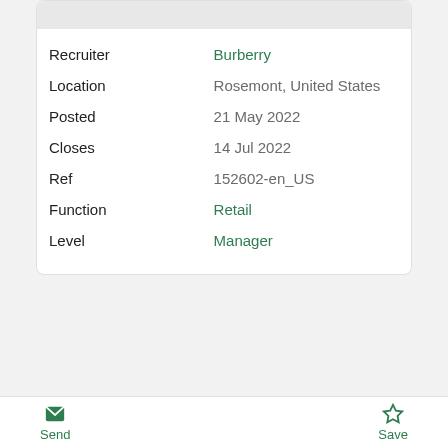| Field | Value |
| --- | --- |
| Recruiter | Burberry |
| Location | Rosemont, United States |
| Posted | 21 May 2022 |
| Closes | 14 Jul 2022 |
| Ref | 152602-en_US |
| Function | Retail |
| Level | Manager |
Send    Save